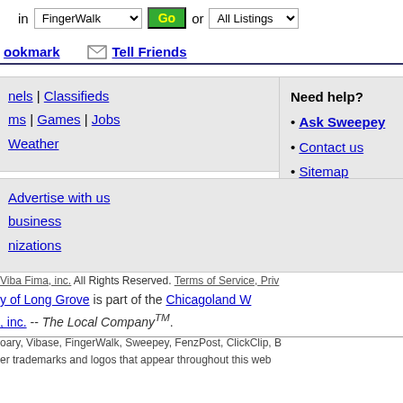in FingerWalk [dropdown] Go or All Listings [dropdown]
Bookmark  [mail icon] Tell Friends
nels | Classifieds
ms | Games | Jobs
Weather
Need help?
Ask Sweepey
Contact us
Sitemap
Advertise with us
business
nizations
Viba Fima, inc. All Rights Reserved. Terms of Service, Priv
y of Long Grove is part of the Chicagoland W, inc. -- The Local Company TM.
oary, Vibase, FingerWalk, Sweepey, FenzPost, ClickClip, B
er trademarks and logos that appear throughout this web